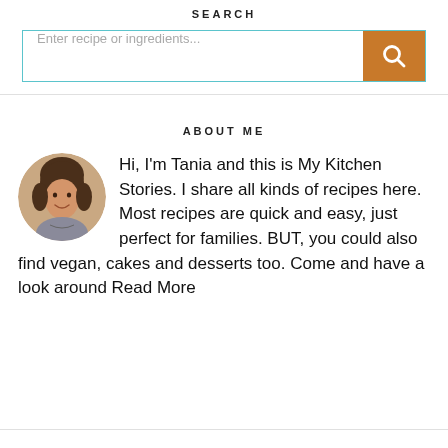SEARCH
[Figure (screenshot): Search input box with teal border and placeholder text 'Enter recipe or ingredients...' with an orange search button on the right]
ABOUT ME
[Figure (photo): Circular profile photo of a smiling middle-aged woman with short brown hair]
Hi, I'm Tania and this is My Kitchen Stories. I share all kinds of recipes here. Most recipes are quick and easy, just perfect for families. BUT, you could also find vegan, cakes and desserts too. Come and have a look around Read More